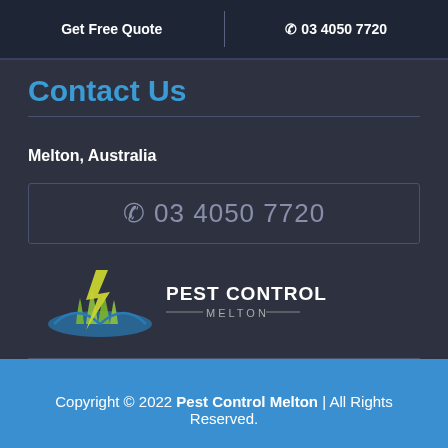Get Free Quote | ☎ 03 4050 7720
Contact Us
Melton, Australia
☎ 03 4050 7720
[Figure (logo): Pest Control Melton logo with lightning bolt and grass/water graphic]
Copyright © 2022 Pest Control Melton | All Rights Reserved.